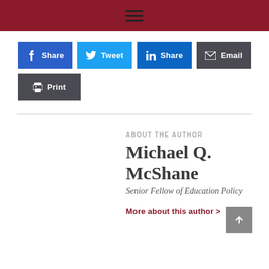Navigation header bar with hamburger menu
[Figure (screenshot): Social sharing buttons: Share (Facebook), Tweet (Twitter), Share (LinkedIn), Email, Print]
ABOUT THE AUTHOR
Michael Q. McShane
Senior Fellow of Education Policy
More about this author >